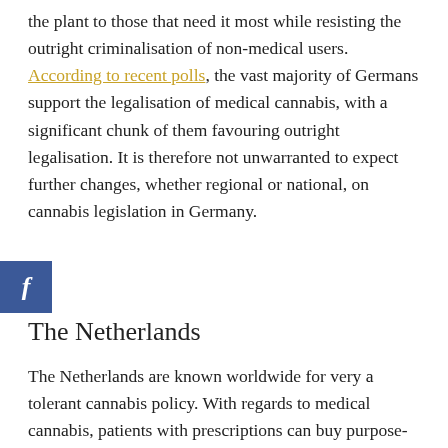the plant to those that need it most while resisting the outright criminalisation of non-medical users. According to recent polls, the vast majority of Germans support the legalisation of medical cannabis, with a significant chunk of them favouring outright legalisation. It is therefore not unwarranted to expect further changes, whether regional or national, on cannabis legislation in Germany.
[Figure (other): Facebook share button icon (dark blue square with white italic f)]
The Netherlands
The Netherlands are known worldwide for very a tolerant cannabis policy. With regards to medical cannabis, patients with prescriptions can buy purpose-grown cannabis from pharmacies since the spring of 2000. The product originates from Bedrocan, the grower designated by the Dutch Office of Medicinal Cannabis (part of the